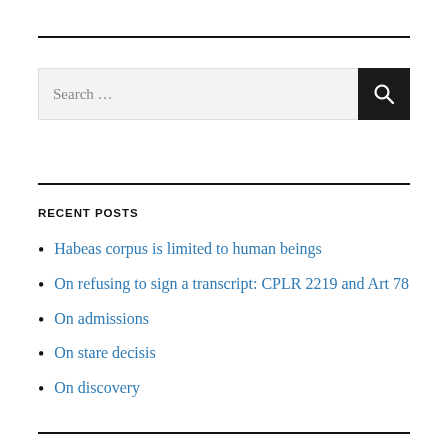[Figure (other): Search bar with text input field showing placeholder 'Search ...' and a dark search button with magnifying glass icon]
RECENT POSTS
Habeas corpus is limited to human beings
On refusing to sign a transcript: CPLR 2219 and Art 78
On admissions
On stare decisis
On discovery